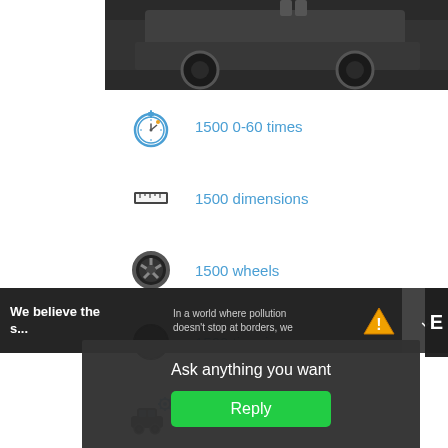[Figure (photo): Partial photo of a dark off-road truck/vehicle from above, showing wheels and body on dark terrain]
1500 0-60 times
1500 dimensions
1500 wheels
1500 tire size
Custom 1500
1500 Parts
We believe the...
In a world where pollution doesn't stop at borders, we
Ask anything you want
Reply